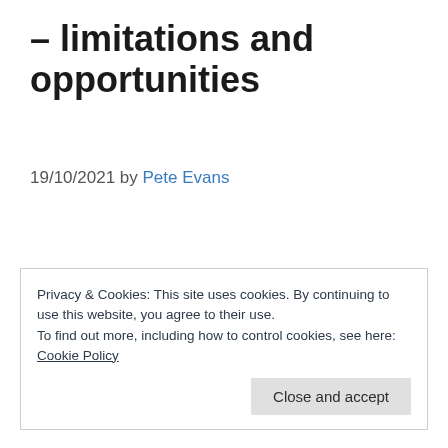– limitations and opportunities
19/10/2021 by Pete Evans
Privacy & Cookies: This site uses cookies. By continuing to use this website, you agree to their use.
To find out more, including how to control cookies, see here:
Cookie Policy
Close and accept